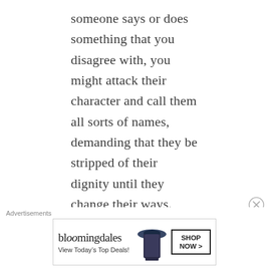someone says or does something that you disagree with, you might attack their character and call them all sorts of names, demanding that they be stripped of their dignity until they change their ways. That's exactly what I've seen in this debate. It's really nasty and harmful. Those who go to war with their words against someone who did or said something that they disagree with, those people are the ones that stop dialogue, who encourage hate, and stifle civility. It's good to say, “I don’t appreciate the way he conducts himself.” It’s not alright to call him all sorts of
Advertisements
[Figure (illustration): Bloomingdale's advertisement banner with logo, tagline 'View Today's Top Deals!', an image of a woman wearing a wide-brim hat, and a 'SHOP NOW >' button.]